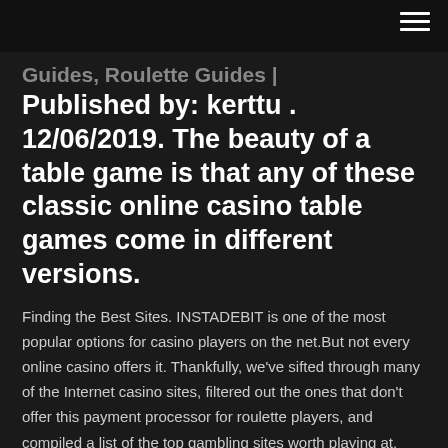Guides, Roulette Guides |
Published by: kerttu . 12/06/2019. The beauty of a table game is that any of these classic online casino table games come in different versions.
Finding the Best Sites. INSTADEBIT is one of the most popular options for casino players on the net.But not every online casino offers it. Thankfully, we've sifted through many of the Internet casino sites, filtered out the ones that don't offer this payment processor for roulette players, and compiled a list of the top gambling sites worth playing at. Casino Strategy 2020 - How To Win (Make Money Online)For